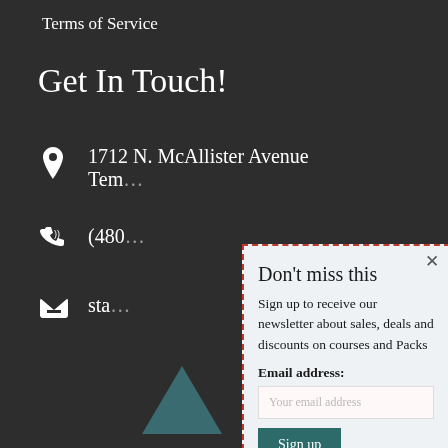Terms of Service
Get In Touch!
1712 N. McAllister Avenue
Tem…
(480…
sta…
Don't miss this
Sign up to receive our newsletter about sales, deals and discounts on courses and Packs
Email address:
Your email address
Sign up